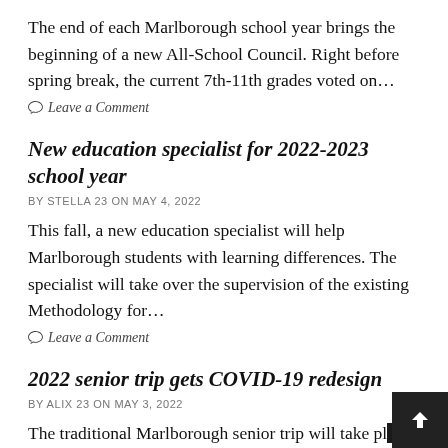The end of each Marlborough school year brings the beginning of a new All-School Council. Right before spring break, the current 7th-11th grades voted on…
Leave a Comment
New education specialist for 2022-2023 school year
BY STELLA 23 ON MAY 4, 2022
This fall, a new education specialist will help Marlborough students with learning differences. The specialist will take over the supervision of the existing Methodology for…
Leave a Comment
2022 senior trip gets COVID-19 redesign
BY ALIX 23 ON MAY 3, 2022
The traditional Marlborough senior trip will take place in Ojai this May after a two year hiatus. In pre-COV